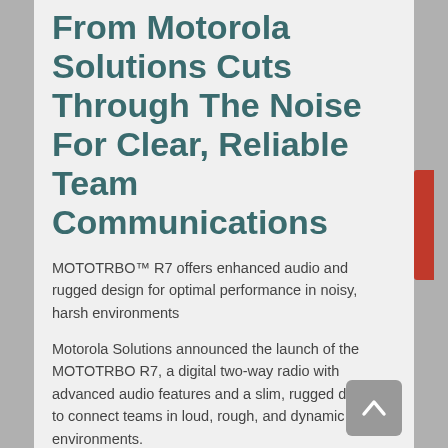From Motorola Solutions Cuts Through The Noise For Clear, Reliable Team Communications
MOTOTRBO™ R7 offers enhanced audio and rugged design for optimal performance in noisy, harsh environments
Motorola Solutions announced the launch of the MOTOTRBO R7, a digital two-way radio with advanced audio features and a slim, rugged design to connect teams in loud, rough, and dynamic environments.
The MOTOTRBO R7 voice communications work on the digital mobile radio (DMR) standard and deliver sharp, clear speech for better intelligibility,